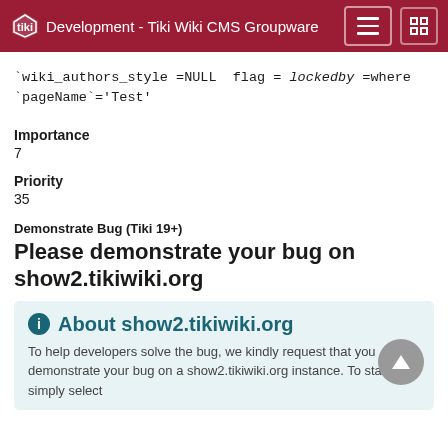Development - Tiki Wiki CMS Groupware
`wiki_authors_style =NULL  flag =  lockedby =where `pageName`='Test'
Importance
7
Priority
35
Demonstrate Bug (Tiki 19+)
Please demonstrate your bug on show2.tikiwiki.org
About show2.tikiwiki.org
To help developers solve the bug, we kindly request that you demonstrate your bug on a show2.tikiwiki.org instance. To start, simply select